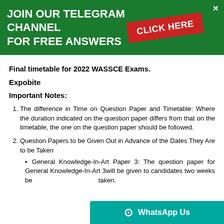[Figure (infographic): Green banner with text 'JOIN OUR TELEGRAM CHANNEL FOR FREE ANSWERS' and a red rotated button 'CLICK HERE', with an X close button.]
Final timetable for 2022 WASSCE Exams.
Expobite
Important Notes:
The difference in Time on Question Paper and Timetable: Where the duration indicated on the question paper differs from that on the timetable, the one on the question paper should be followed.
Question Papers to be Given Out in Advance of the Dates They Are to be Taken
General Knowledge-In-Art Paper 3: The question paper for General Knowledge-In-Art 3will be given to candidates two weeks before the date it is to be taken.
[Figure (infographic): Teal WhatsApp Us button bar at bottom right]